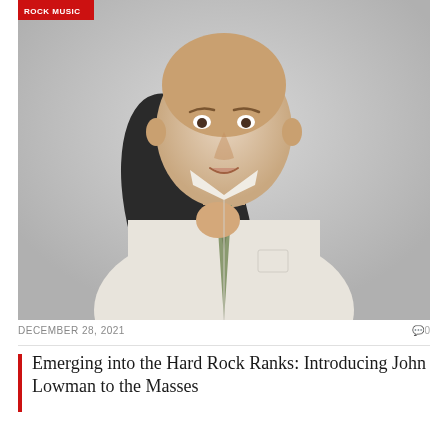[Figure (photo): Portrait photo of a middle-aged bald man in a white dress shirt and patterned tie, holding a dark jacket over his shoulder, against a grey background. A red label tag reading 'ROCK MUSIC' appears in the top-left corner of the image.]
DECEMBER 28, 2021
0
Emerging into the Hard Rock Ranks: Introducing John Lowman to the Masses